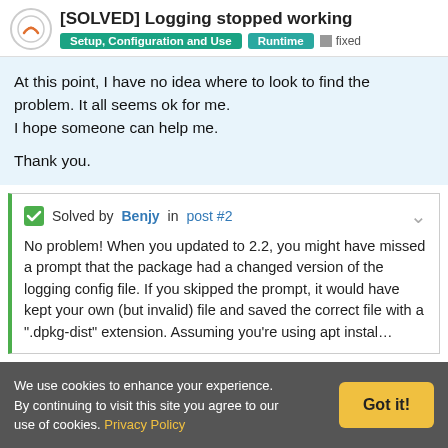[SOLVED] Logging stopped working
Setup, Configuration and Use | Runtime | fixed
At this point, I have no idea where to look to find the problem. It all seems ok for me.
I hope someone can help me.

Thank you.
Solved by Benjy in post #2
No problem! When you updated to 2.2, you might have missed a prompt that the package had a changed version of the logging config file. If you skipped the prompt, it would have kept your own (but invalid) file and saved the correct file with a ".dpkg-dist" extension. Assuming you're using apt instal…
We use cookies to enhance your experience. By continuing to visit this site you agree to our use of cookies. Privacy Policy